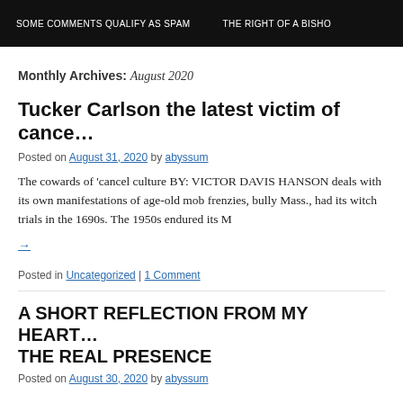SOME COMMENTS QUALIFY AS SPAM   THE RIGHT OF A BISHOP
Monthly Archives: August 2020
Tucker Carlson the latest victim of cancel culture…
Posted on August 31, 2020 by abyssum
The cowards of 'cancel culture BY: VICTOR DAVIS HANSON deals with its own manifestations of age-old mob frenzies, bully Mass., had its witch trials in the 1690s. The 1950s endured its M
→
Posted in Uncategorized | 1 Comment
A SHORT REFLECTION FROM MY HEART … THE REAL PRESENCE
Posted on August 30, 2020 by abyssum